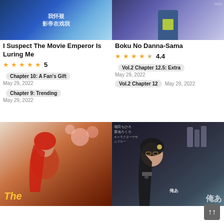[Figure (illustration): Manga cover for 'I Suspect The Movie Emperor Is Luring Me' — blue fantasy artwork with Chinese characters]
[Figure (illustration): Manga cover for 'Boku No Danna-Sama' — character in suit with yellow-green shirt]
I Suspect The Movie Emperor Is Luring Me
[Figure (other): 5 gold star rating]
5
Chapter 10: A Fan's Gift
May 29, 2022
Chapter 9: Trending
May 29, 2022
Boku No Danna-Sama
[Figure (other): 4.4 star rating with 4 full stars and 1 half star]
4.4
Vol.2 Chapter 12.5: Extra
May 29, 2022
Vol.2 Chapter 12
May 29, 2022
[Figure (illustration): Manga cover bottom left — red-haired female character with cherry blossoms]
[Figure (illustration): Manga cover bottom right — dark-haired female character with gun, Japanese text overlay]